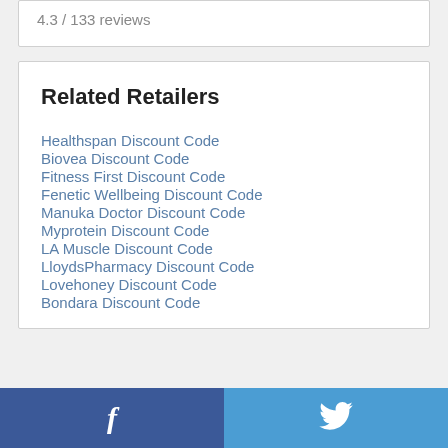4.3 / 133 reviews
Related Retailers
Healthspan Discount Code
Biovea Discount Code
Fitness First Discount Code
Fenetic Wellbeing Discount Code
Manuka Doctor Discount Code
Myprotein Discount Code
LA Muscle Discount Code
LloydsPharmacy Discount Code
Lovehoney Discount Code
Bondara Discount Code